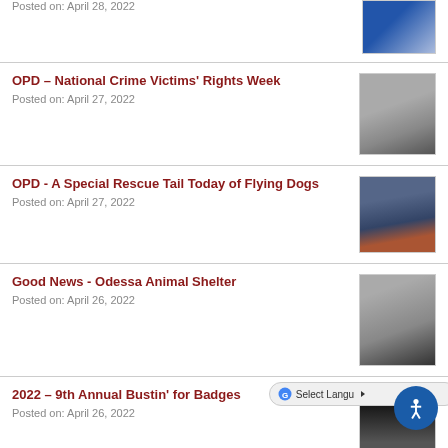Posted on: April 28, 2022
OPD – National Crime Victims' Rights Week
Posted on: April 27, 2022
OPD - A Special Rescue Tail Today of Flying Dogs
Posted on: April 27, 2022
Good News - Odessa Animal Shelter
Posted on: April 26, 2022
2022 – 9th Annual Bustin' for Badges
Posted on: April 26, 2022
Goodie Basket Delivery